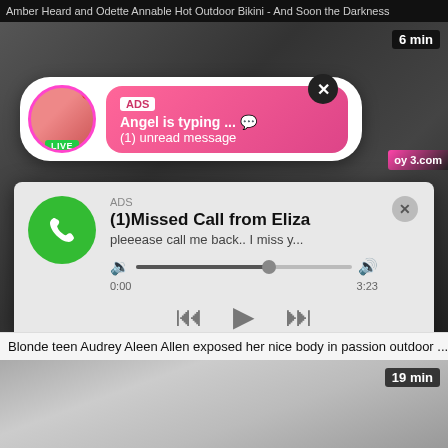Amber Heard and Odette Annable Hot Outdoor Bikini - And Soon the Darkness
[Figure (screenshot): Adult video thumbnail with live chat ad popup overlay showing avatar with LIVE badge, pink gradient bubble with ADS label, 'Angel is typing ... 💬' and '(1) unread message', close button, and 6 min duration badge]
[Figure (screenshot): Fake phone notification popup: green phone icon, ADS label, '(1)Missed Call from Eliza', 'pleeease call me back.. I miss y...', audio player with progress bar showing 0:00 to 3:23, playback controls (rewind, play, fast-forward)]
Blonde teen Audrey Aleen Allen exposed her nice body in passion outdoor ...
[Figure (photo): Adult video thumbnail with 19 min duration badge in top right corner]